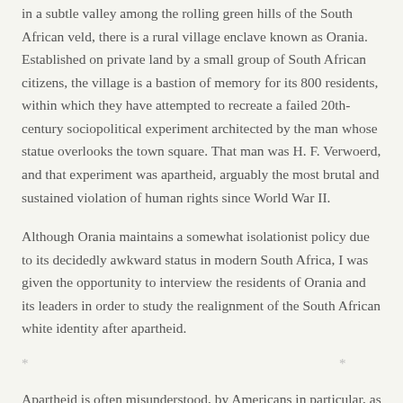in a subtle valley among the rolling green hills of the South African veld, there is a rural village enclave known as Orania. Established on private land by a small group of South African citizens, the village is a bastion of memory for its 800 residents, within which they have attempted to recreate a failed 20th-century sociopolitical experiment architected by the man whose statue overlooks the town square. That man was H. F. Verwoerd, and that experiment was apartheid, arguably the most brutal and sustained violation of human rights since World War II.
Although Orania maintains a somewhat isolationist policy due to its decidedly awkward status in modern South Africa, I was given the opportunity to interview the residents of Orania and its leaders in order to study the realignment of the South African white identity after apartheid.
* * *
Apartheid is often misunderstood, by Americans in particular, as a system of segregation not unlike that in the pre-Civil Rights southern United States. In reality, apartheid was an absolute, undeniably fascist, fully compartmentalized system in which